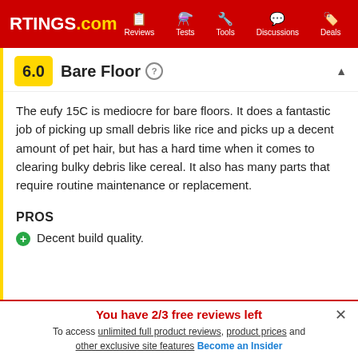RTINGS.com | Reviews | Tests | Tools | Discussions | Deals
6.0 Bare Floor
The eufy 15C is mediocre for bare floors. It does a fantastic job of picking up small debris like rice and picks up a decent amount of pet hair, but has a hard time when it comes to clearing bulky debris like cereal. It also has many parts that require routine maintenance or replacement.
PROS
Decent build quality.
You have 2/3 free reviews left
To access unlimited full product reviews, product prices and other exclusive site features Become an Insider